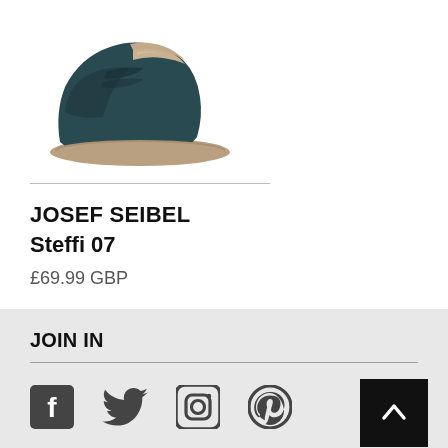[Figure (photo): Dark navy blue Josef Seibel Steffi 07 sneaker/casual shoe with beige sole and laces, shown from the side on a white background]
JOSEF SEIBEL Steffi 07
£69.99 GBP
JOIN IN
[Figure (illustration): Social media icons: Facebook, Twitter, Instagram, Pinterest]
SIGN UP TO OUR NEWSLETTER